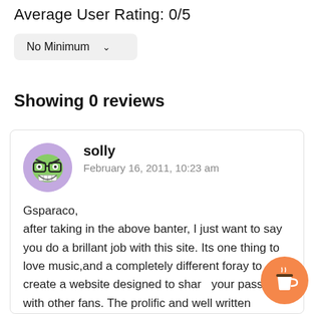Average User Rating: 0/5
No Minimum
Showing 0 reviews
solly
February 16, 2011, 10:23 am

Gsparaco,
after taking in the above banter, I just want to say you do a brillant job with this site. Its one thing to love music,and a completely different foray to create a website designed to share your passion with other fans. The prolific and well written reviews that appear here on a daily basis are...